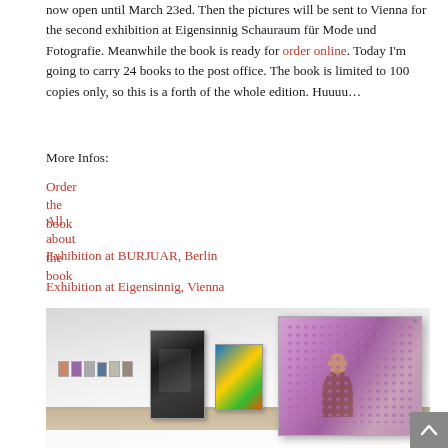now open until March 23ed. Then the pictures will be sent to Vienna for the second exhibition at Eigensinnig Schauraum für Mode und Fotografie. Meanwhile the book is ready for order online. Today I'm going to carry 24 books to the post office. The book is limited to 100 copies only, so this is a forth of the whole edition. Huuuu…
More Infos:
Order the book
All about the book
Exhibition at BURJUAR, Berlin
Exhibition at Eigensinnig, Vienna
[Figure (photo): Gallery interior showing a white wall with multiple framed photographs hung in a row. From left to right: several small distant photos, a large black and white photo of an interior space, a colorful medium photo with blue/yellow/green tones, and a large photo of a child sitting in front of pink/purple patterned seats.]